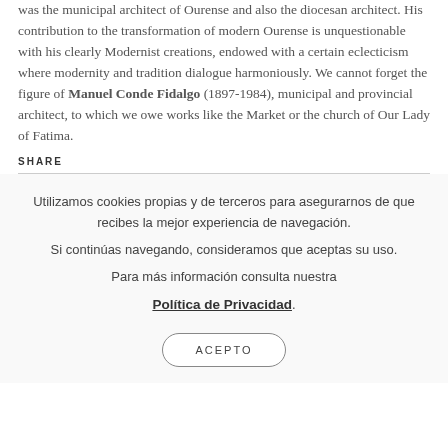was the municipal architect of Ourense and also the diocesan architect. His contribution to the transformation of modern Ourense is unquestionable with his clearly Modernist creations, endowed with a certain eclecticism where modernity and tradition dialogue harmoniously. We cannot forget the figure of Manuel Conde Fidalgo (1897-1984), municipal and provincial architect, to which we owe works like the Market or the church of Our Lady of Fatima.
SHARE
Utilizamos cookies propias y de terceros para asegurarnos de que recibes la mejor experiencia de navegación. Si continúas navegando, consideramos que aceptas su uso. Para más información consulta nuestra Política de Privacidad.